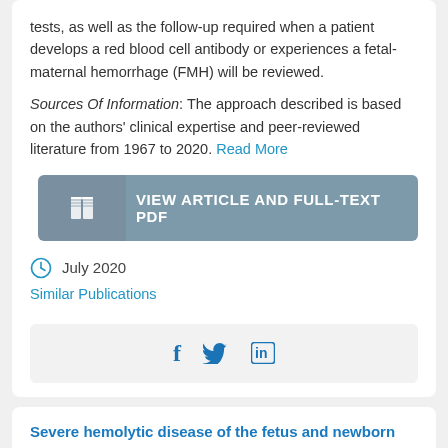tests, as well as the follow-up required when a patient develops a red blood cell antibody or experiences a fetal-maternal hemorrhage (FMH) will be reviewed.
Sources Of Information: The approach described is based on the authors' clinical expertise and peer-reviewed literature from 1967 to 2020. Read More
[Figure (other): Button: VIEW ARTICLE AND FULL-TEXT PDF with book icon]
July 2020
Similar Publications
[Figure (other): Social media sharing icons: Facebook (f), Twitter (bird), LinkedIn (in)]
Severe hemolytic disease of the fetus and newborn due to anti-E and anti-Jka.
AUTHORS: